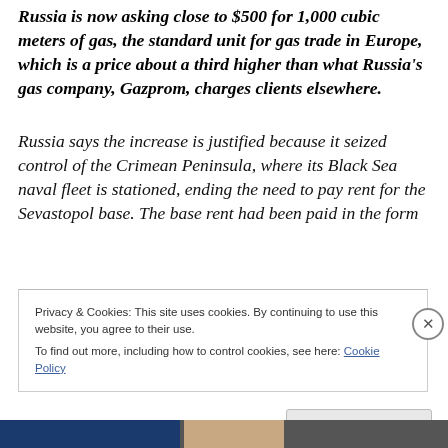Russia is now asking close to $500 for 1,000 cubic meters of gas, the standard unit for gas trade in Europe, which is a price about a third higher than what Russia's gas company, Gazprom, charges clients elsewhere.
Russia says the increase is justified because it seized control of the Crimean Peninsula, where its Black Sea naval fleet is stationed, ending the need to pay rent for the Sevastopol base. The base rent had been paid in the form
Privacy & Cookies: This site uses cookies. By continuing to use this website, you agree to their use.
To find out more, including how to control cookies, see here: Cookie Policy